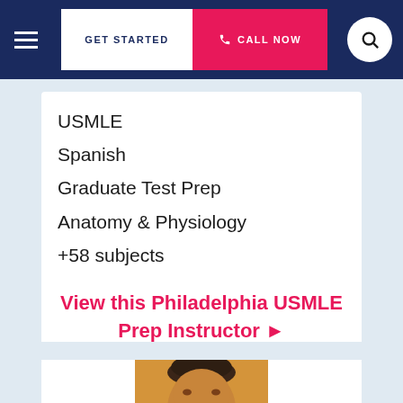GET STARTED  CALL NOW
USMLE
Spanish
Graduate Test Prep
Anatomy & Physiology
+58 subjects
View this Philadelphia USMLE Prep Instructor ▶
[Figure (photo): Partial photo of a person (instructor) with dark hair, cropped at bottom of page]